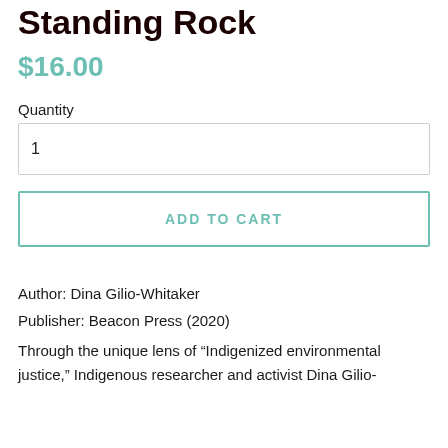Standing Rock
$16.00
Quantity
1
ADD TO CART
Author: Dina Gilio-Whitaker
Publisher: Beacon Press (2020)
Through the unique lens of “Indigenized environmental justice,” Indigenous researcher and activist Dina Gilio-